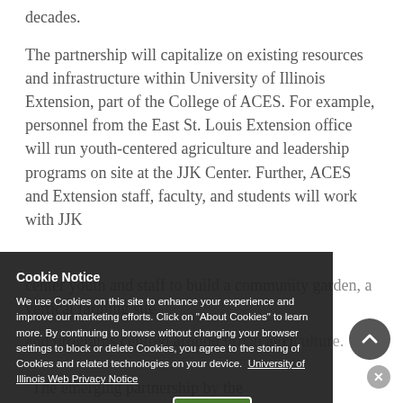decades.
The partnership will capitalize on existing resources and infrastructure within University of Illinois Extension, part of the College of ACES. For example, personnel from the East St. Louis Extension office will run youth-centered agriculture and leadership programs on site at the JJK Center. Further, ACES and Extension staff, faculty, and students will work with JJK center youth and staff to build a community garden, a vertical farming site, [and programs centered around urban agriculture].
"The emerging partnership b[etween] the
Cookie Notice
We use Cookies on this site to enhance your experience and improve our marketing efforts. Click on "About Cookies" to learn more. By continuing to browse without changing your browser settings to block or delete Cookies, you agree to the storing of Cookies and related technologies on your device. University of Illinois Web Privacy Notice